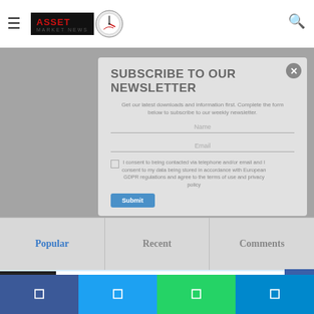[Figure (logo): Asset Market News logo with clock icon]
SUBSCRIBE TO OUR NEWSLETTER
Get our latest downloads and information first. Complete the form below to subscribe to our weekly newsletter.
Name
Email
I consent to being contacted via telephone and/or email and I consent to my data being stored in accordance with European GDPR regulations and agree to the terms of use and privacy policy
Submit
Popular
Recent
Comments
Gold to test resistance